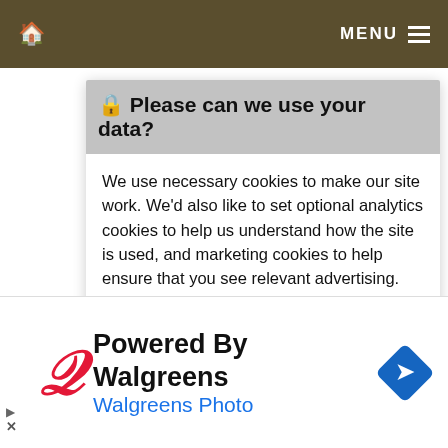🏠  MENU ≡
🔒 Please can we use your data?
We use necessary cookies to make our site work. We'd also like to set optional analytics cookies to help us understand how the site is used, and marketing cookies to help ensure that you see relevant advertising. You can allow all cookies or manage them individually. More information
[Figure (screenshot): Cookie consent modal with Allow All and Manage Individually buttons]
[Figure (infographic): Walgreens ad banner with logo, 'Powered By Walgreens' text, 'Walgreens Photo' subtitle, and blue diamond arrow icon]